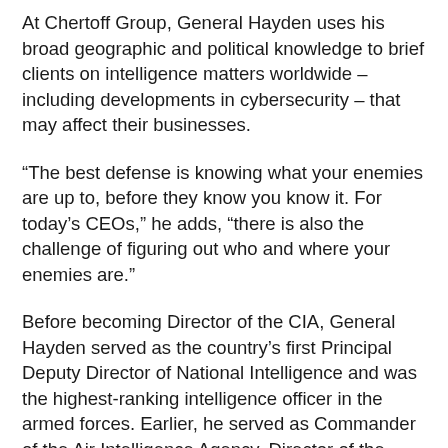At Chertoff Group, General Hayden uses his broad geographic and political knowledge to brief clients on intelligence matters worldwide – including developments in cybersecurity – that may affect their businesses.
“The best defense is knowing what your enemies are up to, before they know you know it. For today’s CEOs,” he adds, “there is also the challenge of figuring out who and where your enemies are.”
Before becoming Director of the CIA, General Hayden served as the country’s first Principal Deputy Director of National Intelligence and was the highest-ranking intelligence officer in the armed forces. Earlier, he served as Commander of the Air Intelligence Agency, Director of the Joint Command and Control Warfare Center, Director of the National Security Agency and Chief of the Central Security